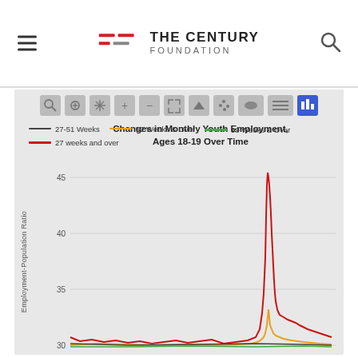The Century Foundation
[Figure (line-chart): Line chart showing changes in monthly youth employment for ages 18-19 over time, with y-axis showing Employment-Population Ratio ranging from approximately 30 to 45, with a sharp spike visible in the red '27 weeks and over' series reaching above 45.]